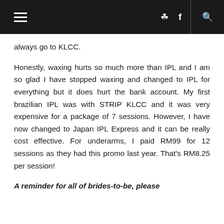≡  [instagram] f  [search]
always go to KLCC.
Honestly, waxing hurts so much more than IPL and I am so glad I have stopped waxing and changed to IPL for everything but it does hurt the bank account. My first brazilian IPL was with STRIP KLCC and it was very expensive for a package of 7 sessions. However, I have now changed to Japan IPL Express and it can be really cost effective. For underarms, I paid RM99 for 12 sessions as they had this promo last year. That's RM8.25 per session!
A reminder for all of brides-to-be, please